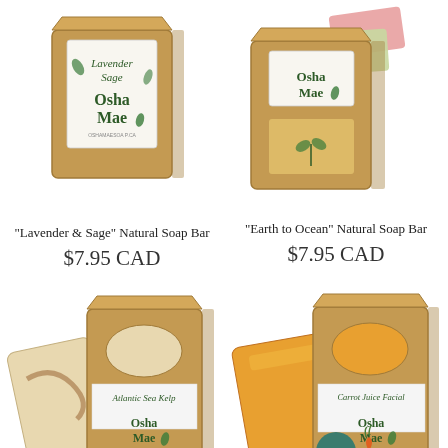[Figure (photo): Lavender Sage Natural Soap Bar product photo with kraft box packaging, Osha Mae brand label]
[Figure (photo): Earth to Ocean Natural Soap Bar product photo with kraft box and colorful soap bars, Osha Mae brand]
"Earth to Ocean" Natural Soap Bar
$7.95 CAD
"Lavender & Sage" Natural Soap Bar
$7.95 CAD
[Figure (photo): Atlantic Sea Kelp Natural Soap Bar product photo with kraft box packaging, Osha Mae brand]
[Figure (photo): Carrot Juice Facial Natural Soap Bar product photo with kraft box packaging, Osha Mae brand, Sale badge visible]